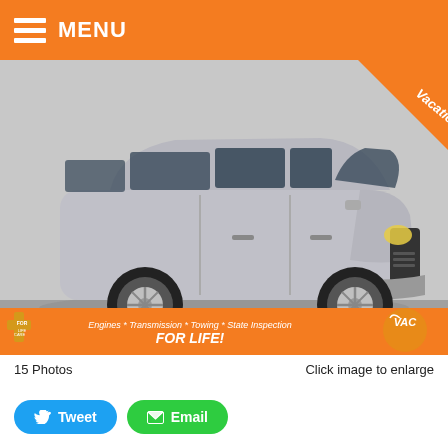MENU
[Figure (photo): Silver Dodge Grand Caravan minivan photographed from a three-quarter front angle in a showroom/parking lot. The car is silver/grey. The bottom of the image has an orange banner with text: 'Engines * Transmission * Towing * State Inspection FOR LIFE!' with a logo on the right (VAC) and a cross-shaped 'For Life' logo on the left. A 'Vacation' badge appears in the top-right corner.]
15 Photos
Click image to enlarge
Tweet  Email